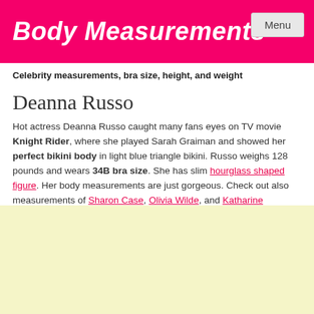Body Measurements
Celebrity measurements, bra size, height, and weight
Deanna Russo
Hot actress Deanna Russo caught many fans eyes on TV movie Knight Rider, where she played Sarah Graiman and showed her perfect bikini body in light blue triangle bikini. Russo weighs 128 pounds and wears 34B bra size. She has slim hourglass shaped figure. Her body measurements are just gorgeous. Check out also measurements of Sharon Case, Olivia Wilde, and Katharine McPhee.
[Figure (other): Yellow/cream colored advertisement box at the bottom of the page]